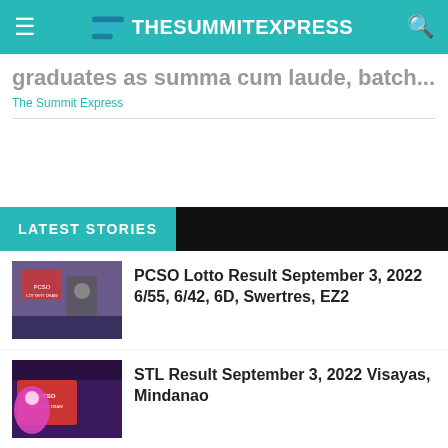TheSummitExpress
graduates as summa cum laude, batch...
The Summit Express
LATEST STORIES
PCSO Lotto Result September 3, 2022 6/55, 6/42, 6D, Swertres, EZ2
STL Result September 3, 2022 Visayas, Mindanao
No UPCAT for AY 2023-2024